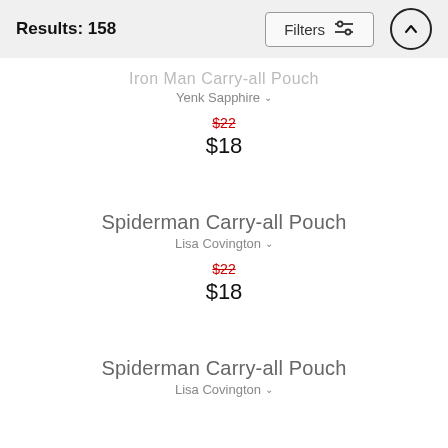Results: 158 | Filters
Iron Man Carry-all Pouch
Yenk Sapphire
$22 $18
Spiderman Carry-all Pouch
Lisa Covington
$22 $18
Spiderman Carry-all Pouch
Lisa Covington